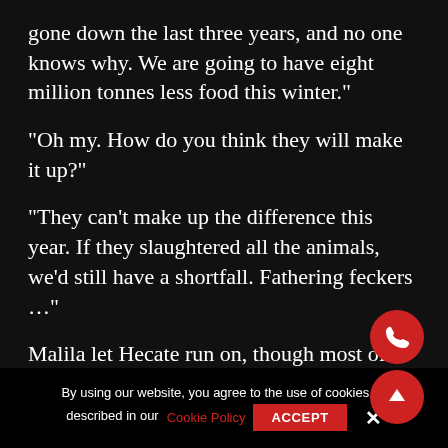gone down the last three years, and no one knows why. We are going to have eight million tonnes less food this winter.”
“Oh my. How do you think they will make it up?”
“They can’t make up the difference this year. If they slaughtered all the animals, we’d still have a shortfall. Fathering feckers …”
Malila let Hecate run on, though most of it was lost on her. Malila had no idea what an effusion was. What she did know was that her friend was in pain. Hecate had always felt things more than Malila. It had been one of Malila’s unspoken delights as a child to hold a crying Hecate and feel
By using our website, you agree to the use of cookies as described in our Cookie Policy
ACCEPT